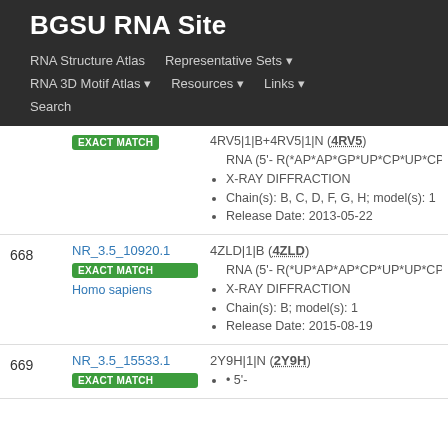BGSU RNA Site
RNA Structure Atlas | Representative Sets ▾ | RNA 3D Motif Atlas ▾ | Resources ▾ | Links ▾ | Search
| # | NR ID / Match | Structure Info |
| --- | --- | --- |
|  | EXACT MATCH | 4RV5|1|B+4RV5|1|N (4RV5) • RNA (5'-R(*AP*AP*GP*UP*CP*UP*CP*CP*AP*G • X-RAY DIFFRACTION • Chain(s): B, C, D, F, G, H; model(s): 1 • Release Date: 2013-05-22 |
| 668 | NR_3.5_10920.1 EXACT MATCH Homo sapiens | 4ZLD|1|B (4ZLD) • RNA (5'-R(*UP*AP*AP*CP*UP*UP*CP*UP*GP*U • X-RAY DIFFRACTION • Chain(s): B; model(s): 1 • Release Date: 2015-08-19 |
| 669 | NR_3.5_15533.1 EXACT MATCH | 2Y9H|1|N (2Y9H) • 5'-... |